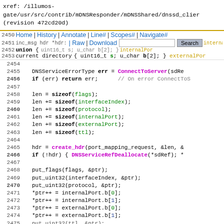xref: /illumos-gate/usr/src/contrib/mDNSResponder/mDNSShared/dnssd_clier (revision 472cd20d)
Navigation bar with Home | History | Annotate | Line# | Scopes# | Navigate# | Raw | Download | Search | current directory
Code lines 2450-2474 showing C source code with DNSServiceErrorType, ConnectToServer, sizeof operations, create_hdr, DNSServiceRefDeallocate, put_flags, put_uint32, pointer operations